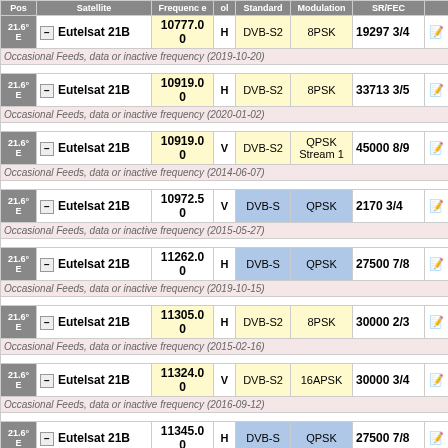| Pos | Satellite | Frequenc e | Pol | Standard | Modulation | SR/FEC |  |
| --- | --- | --- | --- | --- | --- | --- | --- |
| 21.6° E | Eutelsat 21B | 10777.0 0 | H | DVB-S2 | 8PSK | 19297 3/4 |  |
| Occasional Feeds, data or inactive frequency (2019-10-20) |
| 21.6° E | Eutelsat 21B | 10919.0 0 | H | DVB-S2 | 8PSK | 33713 3/5 |  |
| Occasional Feeds, data or inactive frequency (2020-01-02) |
| 21.6° E | Eutelsat 21B | 10919.0 0 | V | DVB-S2 | QPSK Stream 1 | 45000 8/9 |  |
| Occasional Feeds, data or inactive frequency (2014-06-07) |
| 21.6° E | Eutelsat 21B | 10972.5 0 | V | DVB-S | QPSK | 2170 3/4 |  |
| Occasional Feeds, data or inactive frequency (2015-05-27) |
| 21.6° E | Eutelsat 21B | 11262.0 0 | H | DVB-S | QPSK | 27500 7/8 |  |
| Occasional Feeds, data or inactive frequency (2019-10-15) |
| 21.6° E | Eutelsat 21B | 11305.0 0 | H | DVB-S2 | 8PSK | 30000 2/3 |  |
| Occasional Feeds, data or inactive frequency (2015-02-16) |
| 21.6° E | Eutelsat 21B | 11324.0 0 | V | DVB-S2 | 16APSK | 30000 3/4 |  |
| Occasional Feeds, data or inactive frequency (2016-09-12) |
| 21.6° E | Eutelsat 21B | 11345.0 0 | H | DVB-S | QPSK | 27500 7/8 |  |